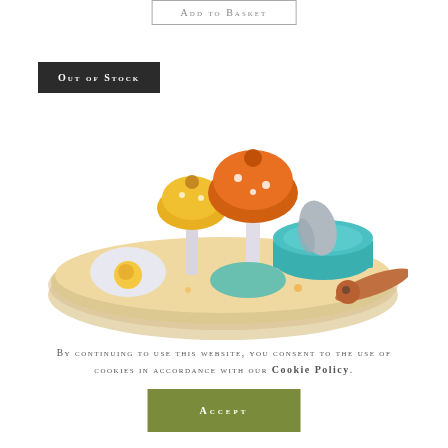Add to Basket
OUT OF STOCK
[Figure (photo): Wooden toy activity set featuring mushroom-shaped pegs in yellow and orange, a fried egg spinner, a teal and brown drum with a fish-shaped drumstick, and decorative elements on a rounded wooden tray base.]
By continuing to use this website, you consent to the use of cookies in accordance with our Cookie Policy.
ACCEPT